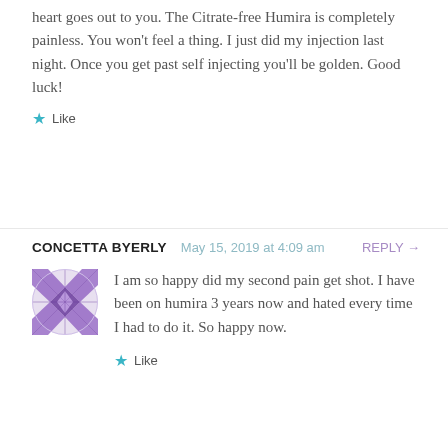heart goes out to you. The Citrate-free Humira is completely painless. You won't feel a thing. I just did my injection last night. Once you get past self injecting you'll be golden. Good luck!
Like
CONCETTA BYERLY   May 15, 2019 at 4:09 am   REPLY →
[Figure (illustration): Purple geometric quilt/kaleidoscope pattern avatar icon]
I am so happy did my second pain get shot. I have been on humira 3 years now and hated every time I had to do it. So happy now.
Like